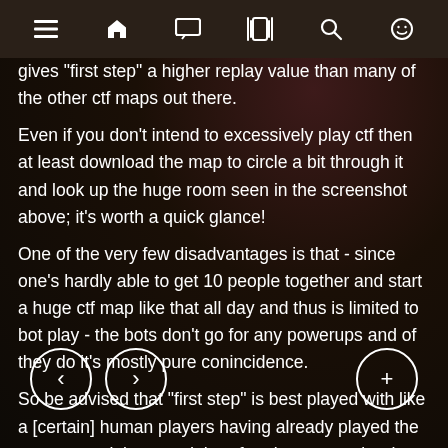Navigation bar with menu, home, chat, vibrate, search, emoji icons
gives "first step" a higher replay value than many of the other ctf maps out there.

Even if you don't intend to excessively play ctf then at least download the map to circle a bit through it and look up the huge room seen in the screenshot above; it's worth a quick glance!

One of the very few disadvantages is that - since one's hardly able to get 10 people together and start a huge ctf map like that all day and thus is limited to bot play - the bots don't go for any powerups and of they do it's mostly pure conincidence.

So be advised that "first step" is best played with like a [certain number of] human players having already played the map several times and therefore know exactly where to go: then